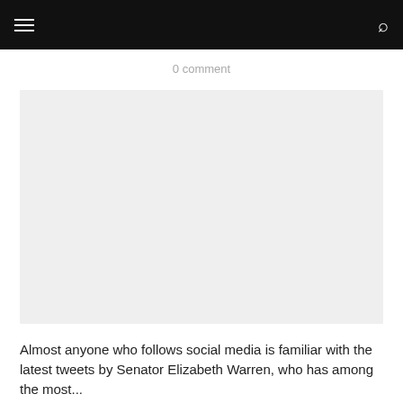0 comment
[Figure (photo): Large light gray placeholder image area]
Almost anyone who follows social media is familiar with the latest tweets by Senator Elizabeth Warren, who has among the most...